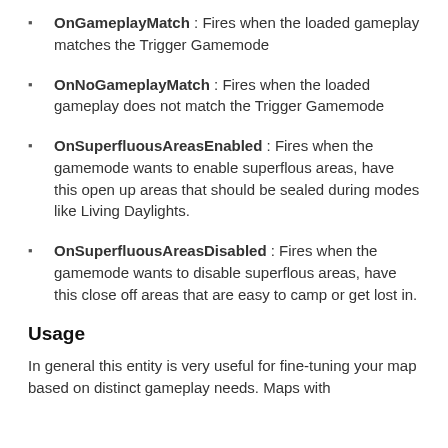OnGameplayMatch : Fires when the loaded gameplay matches the Trigger Gamemode
OnNoGameplayMatch : Fires when the loaded gameplay does not match the Trigger Gamemode
OnSuperfluousAreasEnabled : Fires when the gamemode wants to enable superflous areas, have this open up areas that should be sealed during modes like Living Daylights.
OnSuperfluousAreasDisabled : Fires when the gamemode wants to disable superflous areas, have this close off areas that are easy to camp or get lost in.
Usage
In general this entity is very useful for fine-tuning your map based on distinct gameplay needs. Maps with